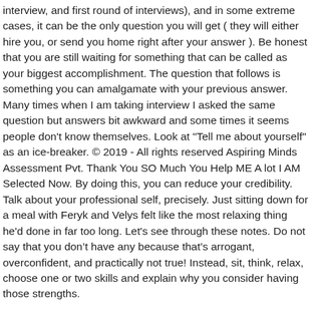interview, and first round of interviews), and in some extreme cases, it can be the only question you will get ( they will either hire you, or send you home right after your answer ). Be honest that you are still waiting for something that can be called as your biggest accomplishment. The question that follows is something you can amalgamate with your previous answer. Many times when I am taking interview I asked the same question but answers bit awkward and some times it seems people don't know themselves. Look at "Tell me about yourself" as an ice-breaker. © 2019 - All rights reserved Aspiring Minds Assessment Pvt. Thank You SO Much You Help ME A lot I AM Selected Now. By doing this, you can reduce your credibility. Talk about your professional self, precisely. Just sitting down for a meal with Feryk and Velys felt like the most relaxing thing he'd done in far too long. Let's see through these notes. Do not say that you donât have any because thatâs arrogant, overconfident, and practically not true! Instead, sit, think, relax, choose one or two skills and explain why you consider having those strengths.